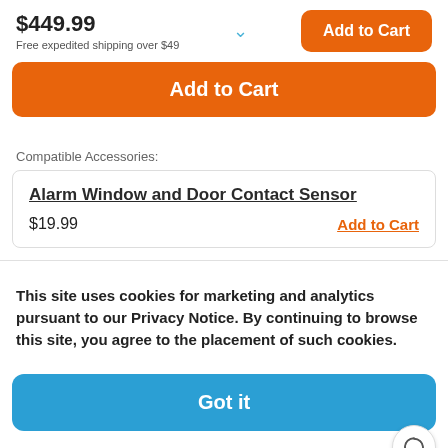$449.99
Free expedited shipping over $49
Add to Cart
Add to Cart
Compatible Accessories:
Alarm Window and Door Contact Sensor
$19.99
Add to Cart
This site uses cookies for marketing and analytics pursuant to our Privacy Notice. By continuing to browse this site, you agree to the placement of such cookies.
Got it
Manage Settings